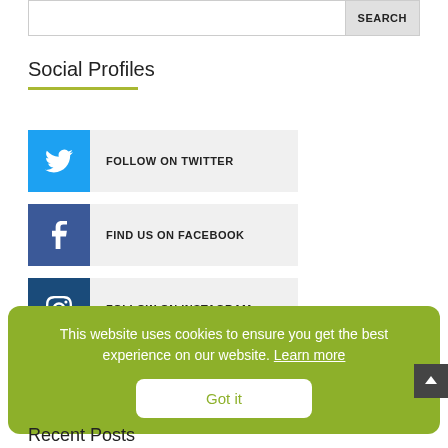SEARCH
Social Profiles
FOLLOW ON TWITTER
FIND US ON FACEBOOK
FOLLOW ON INSTAGRAM
This website uses cookies to ensure you get the best experience on our website. Learn more
Got it
Recent Posts